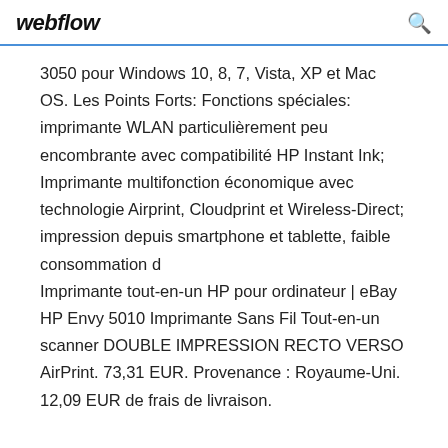webflow
3050 pour Windows 10, 8, 7, Vista, XP et Mac OS. Les Points Forts: Fonctions spéciales: imprimante WLAN particulièrement peu encombrante avec compatibilité HP Instant Ink; Imprimante multifonction économique avec technologie Airprint, Cloudprint et Wireless-Direct; impression depuis smartphone et tablette, faible consommation d
Imprimante tout-en-un HP pour ordinateur | eBay HP Envy 5010 Imprimante Sans Fil Tout-en-un scanner DOUBLE IMPRESSION RECTO VERSO AirPrint. 73,31 EUR. Provenance : Royaume-Uni. 12,09 EUR de frais de livraison.